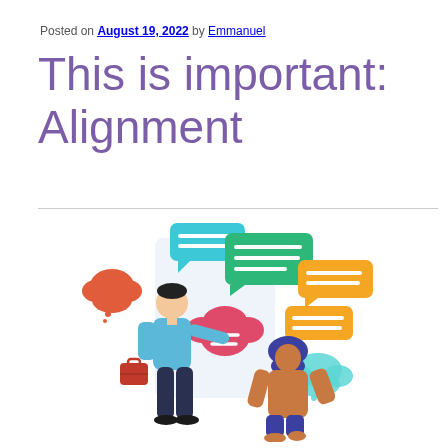Posted on August 19, 2022 by Emmanuel
This is important: Alignment
[Figure (illustration): Two illustrated characters facing each other with speech bubbles: a man in a blue sweater holding a red briefcase with a red thought cloud, and a woman in a headscarf with various colored chat bubbles (teal, green, orange, red, cyan) above them on a light blue background panel]